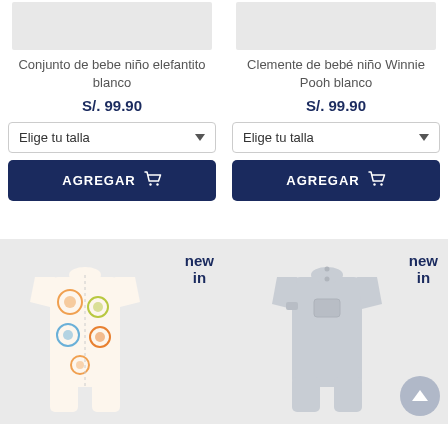Conjunto de bebe niño elefantito blanco
S/. 99.90
Elige tu talla
AGREGAR
Clemente de bebé niño Winnie Pooh blanco
S/. 99.90
Elige tu talla
AGREGAR
[Figure (photo): Baby onesie with colorful animal print, tagged 'new in']
[Figure (photo): Plain grey baby onesie, tagged 'new in']